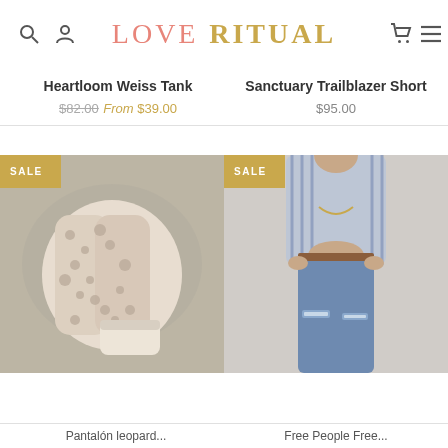LOVE RITUAL
Heartloom Weiss Tank
$82.00 From $39.00
Sanctuary Trailblazer Short
$95.00
[Figure (photo): Folded snake-print pants laid flat on a patterned rug, with SALE badge]
[Figure (photo): Woman wearing blue ripped jeans and striped open shirt, with SALE badge]
Pantalón leopard...
Free People Free...